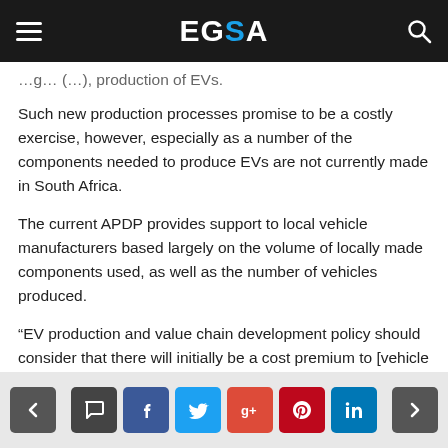EGSA
…g…(…), production of EVs.
Such new production processes promise to be a costly exercise, however, especially as a number of the components needed to produce EVs are not currently made in South Africa.
The current APDP provides support to local vehicle manufacturers based largely on the volume of locally made components used, as well as the number of vehicles produced.
“EV production and value chain development policy should consider that there will initially be a cost premium to [vehicle manufacturers] in South Africa based on the higher component import…
< [comment] [f] [twitter] [g+] [pinterest] [in] >